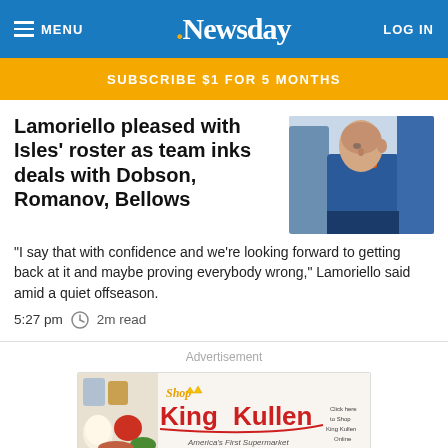≡ MENU  Newsday  LOG IN
SUBSCRIBE $1 FOR 5 MONTHS
Lamoriello pleased with Isles' roster as team inks deals with Dobson, Romanov, Bellows
[Figure (photo): Elderly man in blue jacket with orange collar, photographed from the side, blurred background with another person in blue]
"I say that with confidence and we're looking forward to getting back at it and maybe proving everybody wrong," Lamoriello said amid a quiet offseason.
5:27 pm  🕐 2m read
Advertisement
[Figure (logo): Shop King Kullen - America's First Supermarket advertisement banner with food images on the left]